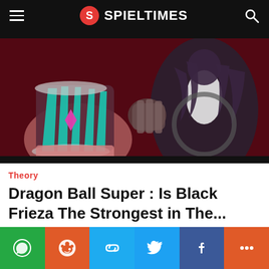SPIELTIMES
[Figure (illustration): Dragon Ball Super anime artwork showing two characters including one with a teal/cyan striped outfit with a pink diamond and another dark figure with white chest, set against a red and dark background]
Theory
Dragon Ball Super : Is Black Frieza The Strongest in The...
WhatsApp | Reddit | Link | Twitter | Facebook | More